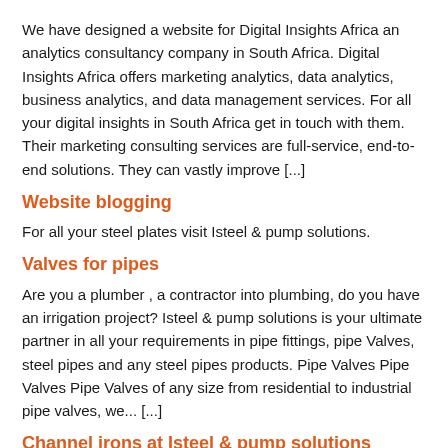We have designed a website for Digital Insights Africa an analytics consultancy company in South Africa. Digital Insights Africa offers marketing analytics, data analytics, business analytics, and data management services. For all your digital insights in South Africa get in touch with them. Their marketing consulting services are full-service, end-to-end solutions. They can vastly improve [...]
Website blogging
For all your steel plates visit Isteel & pump solutions.
Valves for pipes
Are you a plumber , a contractor into plumbing, do you have an irrigation project? Isteel & pump solutions is your ultimate partner in all your requirements in pipe fittings, pipe Valves, steel pipes and any steel pipes products. Pipe Valves Pipe Valves Pipe Valves of any size from residential to industrial pipe valves, we... [...]
Channel irons at Isteel & pump solutions